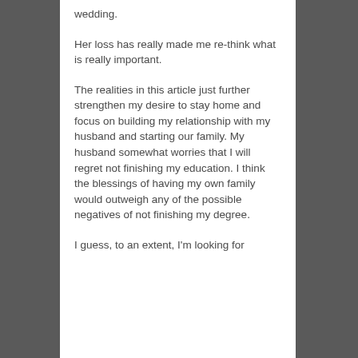wedding.
Her loss has really made me re-think what is really important.
The realities in this article just further strengthen my desire to stay home and focus on building my relationship with my husband and starting our family. My husband somewhat worries that I will regret not finishing my education. I think the blessings of having my own family would outweigh any of the possible negatives of not finishing my degree.
I guess, to an extent, I'm looking for...